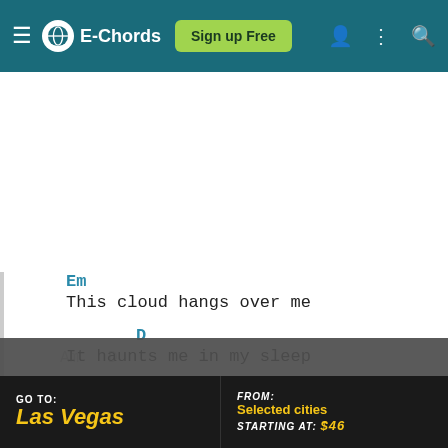E-Chords | Sign up Free
Em
This cloud hangs over me
D
It haunts me in my sleep
E-Chords uses cookies for functional and analytical purposes. Please read our Privacy Policy for more information.
[Figure (screenshot): Advertisement banner: GO TO: Las Vegas | FROM: Selected cities STARTING AT: $46]